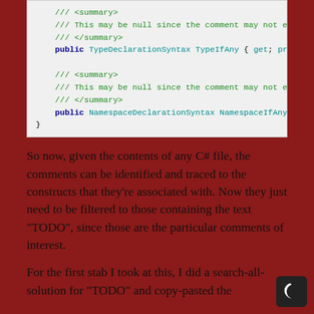[Figure (screenshot): C# code block showing XML doc comments and public properties TypeDeclarationSyntax TypeIfAny and NamespaceDeclarationSyntax NamespaceIfAny]
So now, given the contents of any C# file, the comments can be identified and traced to the constructs that they're associated with. Now they just need to be filtered to those containing the text "TODO", since those are the particular comments of interest.
For the first stab I took at this, I did a search-all-solution for "TODO" and copy-pasted the